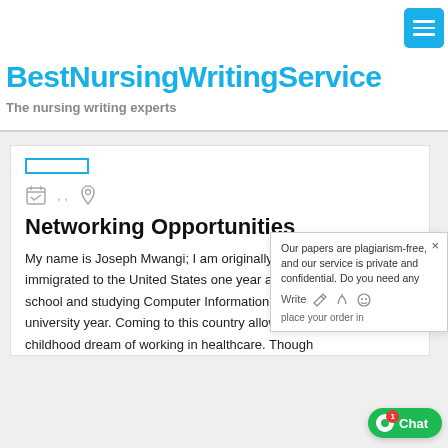BestNursingWritingService
The nursing writing experts
[Figure (other): Menu hamburger button (three horizontal lines on cyan background)]
Networking Opportunities
My name is Joseph Mwangi; I am originally from Kenya. I immigrated to the United States one year after graduating high school and studying Computer Information Technology in my first university year. Coming to this country allowed me to achieve my childhood dream of working in healthcare. Though
Our papers are plagiarism-free, and our service is private and confidential. Do you need any ... Write Place your order in
[Figure (other): Chat button: green rounded button with white circle and Chat label, red badge showing 1]